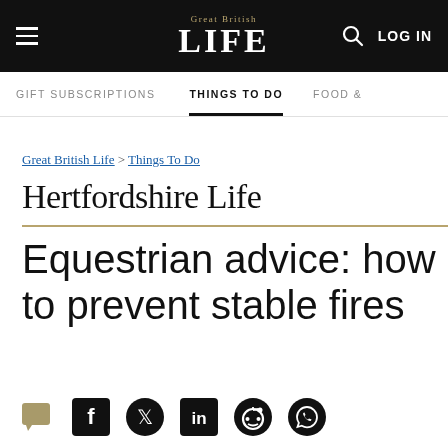Great British LIFE — LOG IN
GIFT SUBSCRIPTIONS   THINGS TO DO   FOOD
Great British Life > Things To Do
Hertfordshire Life
Equestrian advice: how to prevent stable fires